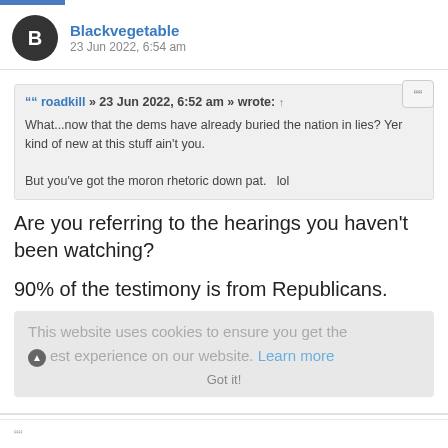Blackvegetable
23 Jun 2022, 6:54 am
roadkill » 23 Jun 2022, 6:52 am » wrote: ↑
What...now that the dems have already buried the nation in lies? Yer kind of new at this stuff ain't you.

But you've got the moron rhetoric down pat.   lol
Are you referring to the hearings you haven't been watching?
90% of the testimony is from Republicans.
This website uses cookies to ensure you get the best experience on our website. Learn more
roadkill
23 Jun 2022, 7:01 am